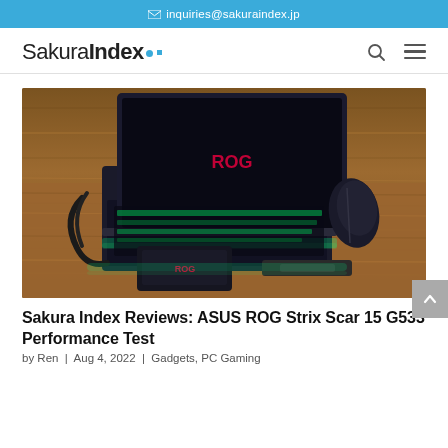✉ inquiries@sakuraindex.jp
SakuraIndex.
[Figure (photo): ASUS ROG Strix Scar 15 G533 gaming laptop open on a wooden desk surrounded by accessories including a ROG mouse, charging cable, and USB hub, with green RGB keyboard lighting visible]
Sakura Index Reviews: ASUS ROG Strix Scar 15 G533 Performance Test
by Ren | Aug 4, 2022 | Gadgets, PC Gaming